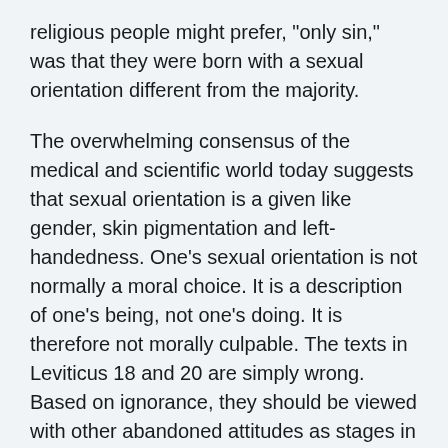religious people might prefer, "only sin," was that they were born with a sexual orientation different from the majority.
The overwhelming consensus of the medical and scientific world today suggests that sexual orientation is a given like gender, skin pigmentation and left-handedness. One's sexual orientation is not normally a moral choice. It is a description of one's being, not one's doing. It is therefore not morally culpable. The texts in Leviticus 18 and 20 are simply wrong. Based on ignorance, they should be viewed with other abandoned attitudes as stages in our development that we have outgrown. To quote these texts today to justify continued prejudice destroys what Christians say they believe about God, and the Christ who invited all to come to him to find rest from their labors. The very